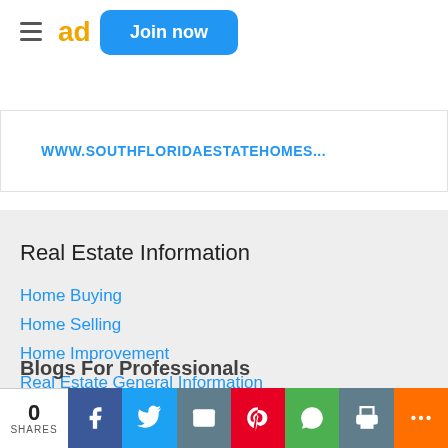Join now
WWW.SOUTHFLORIDAESTATEHOMES...
Real Estate Information
Home Buying
Home Selling
Home Improvement
Real Estate General Information
Real Estate Market Trends
Lending / Financial
Local News and Events
Listings
Blogs For Professionals
0 SHARES